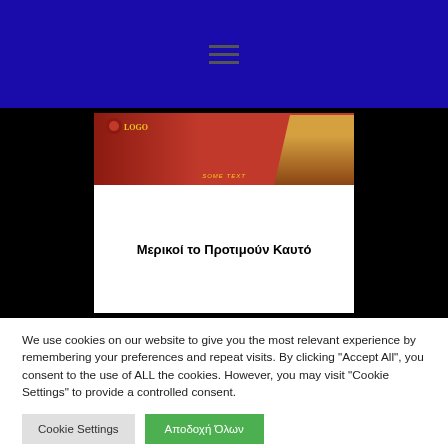Navigation menu (hamburger icon)
[Figure (screenshot): Movie poster image with red background showing a figure on a chair, with logo text overlay. Below it a white card with Greek title text 'Μερικοί το Προτιμούν Καυτό']
Μερικοί το Προτιμούν Καυτό
We use cookies on our website to give you the most relevant experience by remembering your preferences and repeat visits. By clicking "Accept All", you consent to the use of ALL the cookies. However, you may visit "Cookie Settings" to provide a controlled consent.
Cookie Settings
Αποδοχή Όλων